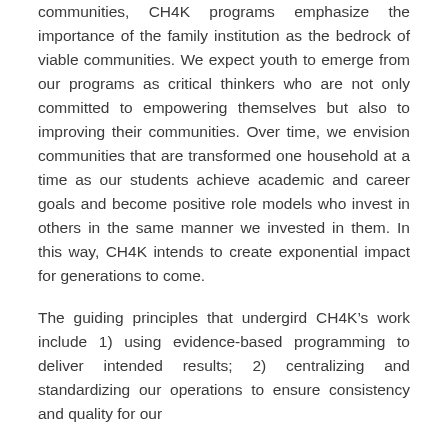communities, CH4K programs emphasize the importance of the family institution as the bedrock of viable communities. We expect youth to emerge from our programs as critical thinkers who are not only committed to empowering themselves but also to improving their communities. Over time, we envision communities that are transformed one household at a time as our students achieve academic and career goals and become positive role models who invest in others in the same manner we invested in them. In this way, CH4K intends to create exponential impact for generations to come.
The guiding principles that undergird CH4K’s work include 1) using evidence-based programming to deliver intended results; 2) centralizing and standardizing our operations to ensure consistency and quality for our